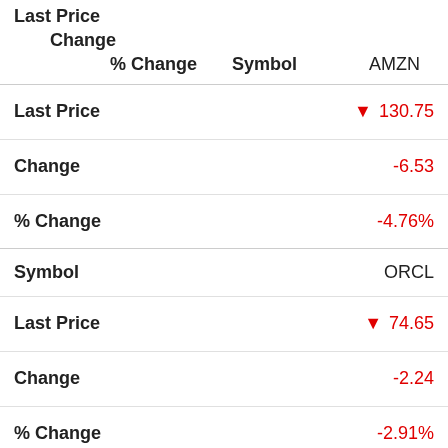| Field | Value |
| --- | --- |
| Last Price |  |
| Change |  |
| % Change |  |
| Symbol | AMZN |
| Last Price | ▼ 130.75 |
| Change | -6.53 |
| % Change | -4.76% |
| Symbol | ORCL |
| Last Price | ▼ 74.65 |
| Change | -2.24 |
| % Change | -2.91% |
| Symbol | JPM |
| Last Price | ▼ ... |